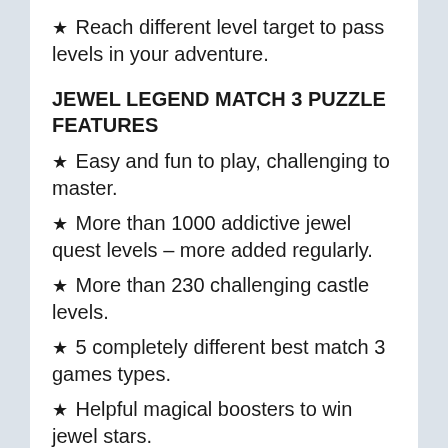★ Reach different level target to pass levels in your adventure.
JEWEL LEGEND MATCH 3 PUZZLE FEATURES
★ Easy and fun to play, challenging to master.
★ More than 1000 addictive jewel quest levels – more added regularly.
★ More than 230 challenging castle levels.
★ 5 completely different best match 3 games types.
★ Helpful magical boosters to win jewel stars.
★ Daily free games bonus in best jewel games.
★ Auto hint when you jewel quest but